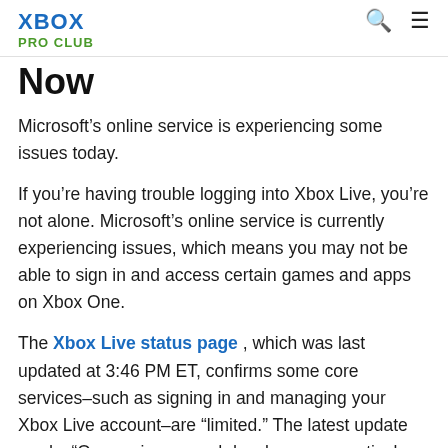XBOX PRO CLUB
Now
Microsoft’s online service is experiencing some issues today.
If you’re having trouble logging into Xbox Live, you’re not alone. Microsoft’s online service is currently experiencing issues, which means you may not be able to sign in and access certain games and apps on Xbox One.
The Xbox Live status page , which was last updated at 3:46 PM ET, confirms some core services–such as signing in and managing your Xbox Live account–are “limited.” The latest update reads, “Our engineers and developers are actively continuing to work to resolve the issue causing some